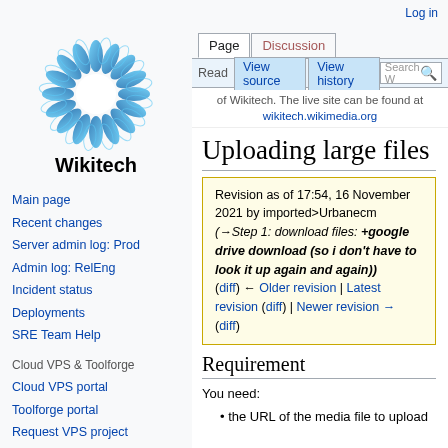Log in
[Figure (logo): Wikitech logo: blue and white circular flower/gear shape above the text 'Wikitech']
Main page
Recent changes
Server admin log: Prod
Admin log: RelEng
Incident status
Deployments
SRE Team Help
Cloud VPS & Toolforge
Cloud VPS portal
Toolforge portal
Request VPS project
Admin log: Cloud VPS
of Wikitech. The live site can be found at wikitech.wikimedia.org
Uploading large files
Revision as of 17:54, 16 November 2021 by imported>Urbanecm (→Step 1: download files: +google drive download (so i don't have to look it up again and again)) (diff) ← Older revision | Latest revision (diff) | Newer revision → (diff)
Requirement
You need:
the URL of the media file to upload